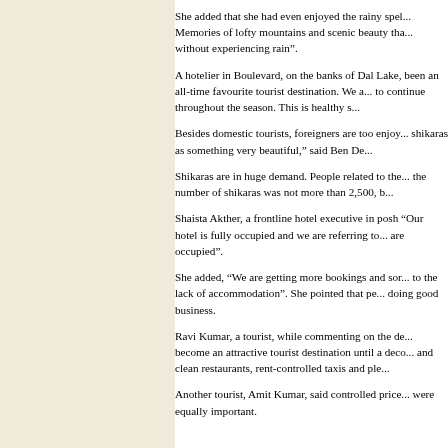She added that she had even enjoyed the rainy spel... Memories of lofty mountains and scenic beauty tha... without experiencing rain”.
A hotelier in Boulevard, on the banks of Dal Lake,... been an all-time favourite tourist destination. We a... to continue throughout the season. This is healthy s...
Besides domestic tourists, foreigners are too enjoy... shikaras as something very beautiful,” said Ben De...
Shikaras are in huge demand. People related to the... the number of shikaras was not more than 2,500, b...
Shaista Akther, a frontline hotel executive in posh... “Our hotel is fully occupied and we are referring to... are occupied”.
She added, “We are getting more bookings and sor... to the lack of accommodation”. She pointed that pe... doing good business.
Ravi Kumar, a tourist, while commenting on the de... become an attractive tourist destination until a deco... and clean restaurants, rent-controlled taxis and ple...
Another tourist, Amit Kumar, said controlled price... were equally important.